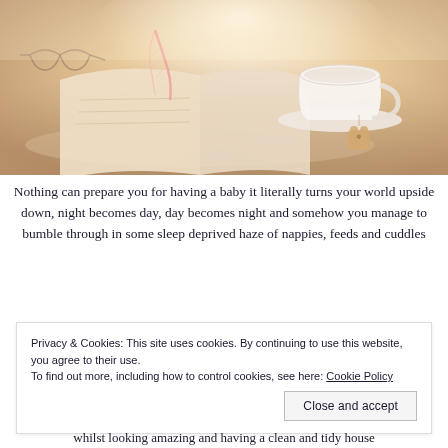[Figure (photo): A cozy flat-lay photo showing an open book with a pink feather, a white teacup on a saucer, and a small bear-shaped tag, bathed in warm light on a white surface.]
Nothing can prepare you for having a baby it literally turns your world upside down, night becomes day, day becomes night and somehow you manage to bumble through in some sleep deprived haze of nappies, feeds and cuddles
Privacy & Cookies: This site uses cookies. By continuing to use this website, you agree to their use.
To find out more, including how to control cookies, see here: Cookie Policy
Close and accept
whilst looking amazing and having a clean and tidy house